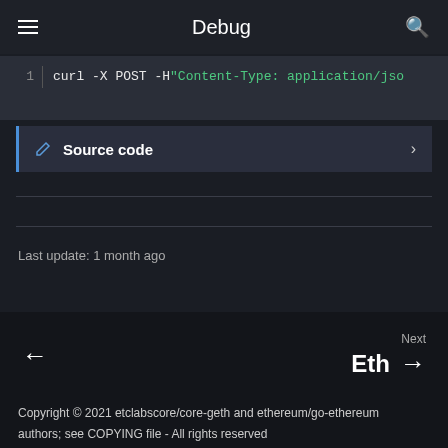Debug
[Figure (screenshot): Code block showing: 1  curl -X POST -H "Content-Type: application/jso]
Source code
Last update: 1 month ago
Next  Eth
Copyright © 2021 etclabscore/core-geth and ethereum/go-ethereum authors; see COPYING file - All rights reserved
Made with Material for MkDocs